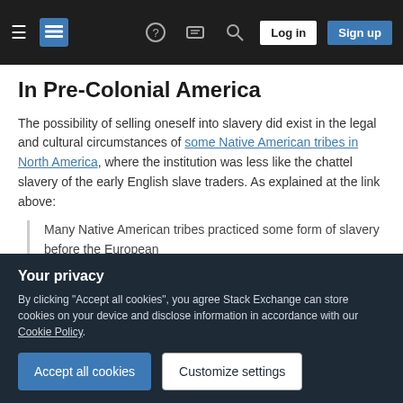Stack Exchange navigation bar with hamburger menu, logo, help, chat, search icons, Log in and Sign up buttons
In Pre-Colonial America
The possibility of selling oneself into slavery did exist in the legal and cultural circumstances of some Native American tribes in North America, where the institution was less like the chattel slavery of the early English slave traders. As explained at the link above:
Many Native American tribes practiced some form of slavery before the European
stake themselves in gambling situations
Your privacy
By clicking "Accept all cookies", you agree Stack Exchange can store cookies on your device and disclose information in accordance with our Cookie Policy.
Accept all cookies   Customize settings